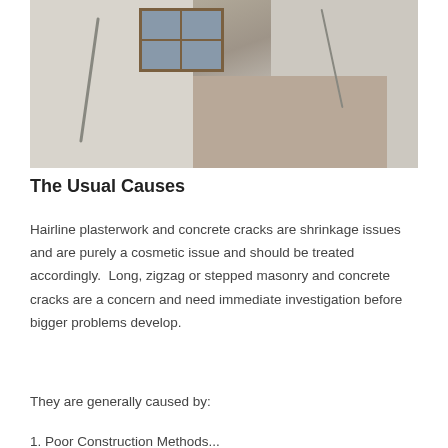[Figure (photo): Interior of a building showing severe structural cracks in white plaster walls, a wooden window with multiple panes, and a staircase. Large zigzag and stepped cracks are visible running down the walls.]
The Usual Causes
Hairline plasterwork and concrete cracks are shrinkage issues and are purely a cosmetic issue and should be treated accordingly.  Long, zigzag or stepped masonry and concrete cracks are a concern and need immediate investigation before bigger problems develop.
They are generally caused by:
1. Poor Construction Methods...